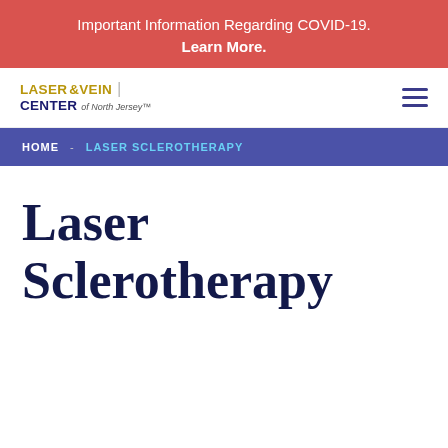Important Information Regarding COVID-19. Learn More.
[Figure (logo): Laser & Vein Center of North Jersey logo with hamburger menu icon]
HOME  -  LASER SCLEROTHERAPY
Laser Sclerotherapy